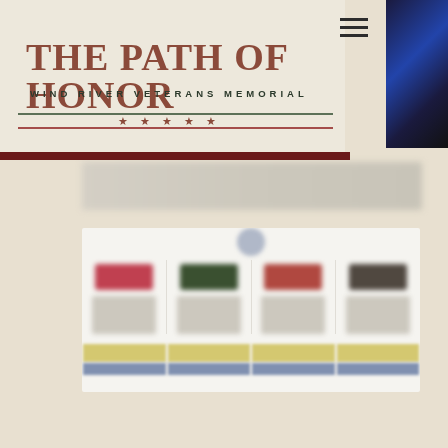THE PATH OF HONOR
WIND RIVER VETERANS MEMORIAL
[Figure (illustration): Decorative divider with two horizontal lines (green and red), five stars centered between them]
[Figure (photo): Blurred banner row with navigation text, partially visible website header content]
[Figure (photo): Blurred grid of four columns showing military/veteran related cards with colored badges and gold/blue bottom bars]